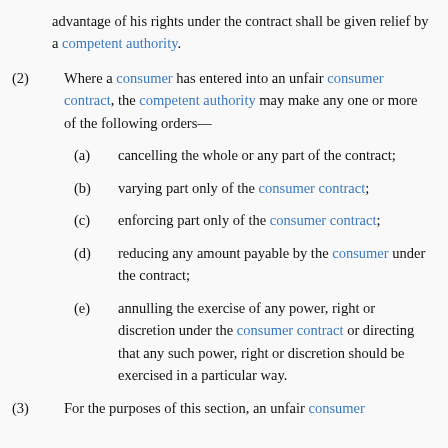advantage of his rights under the contract shall be given relief by a competent authority.
(2) Where a consumer has entered into an unfair consumer contract, the competent authority may make any one or more of the following orders—
(a) cancelling the whole or any part of the contract;
(b) varying part only of the consumer contract;
(c) enforcing part only of the consumer contract;
(d) reducing any amount payable by the consumer under the contract;
(e) annulling the exercise of any power, right or discretion under the consumer contract or directing that any such power, right or discretion should be exercised in a particular way.
(3) For the purposes of this section, an unfair consumer